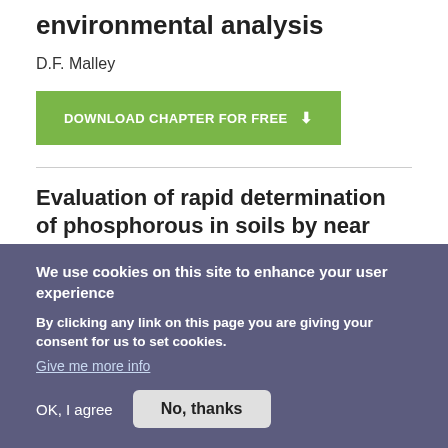environmental analysis
D.F. Malley
DOWNLOAD CHAPTER FOR FREE
Evaluation of rapid determination of phosphorous in soils by near infrared spectroscopy
We use cookies on this site to enhance your user experience
By clicking any link on this page you are giving your consent for us to set cookies.
Give me more info
OK, I agree
No, thanks